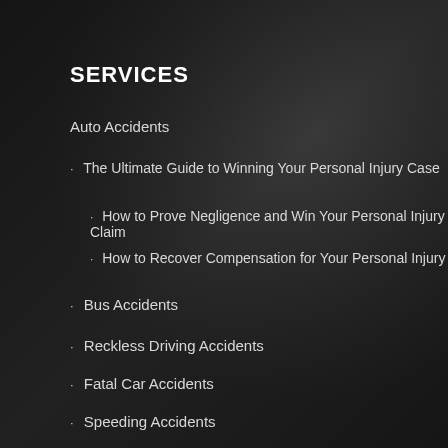SERVICES
Auto Accidents
The Ultimate Guide to Winning Your Personal Injury Case
How to Prove Negligence and Win Your Personal Injury Claim
How to Recover Compensation for Your Personal Injury
Bus Accidents
Reckless Driving Accidents
Fatal Car Accidents
Speeding Accidents
Texting While Driving Car Crashes
Slip and Fall Accidents